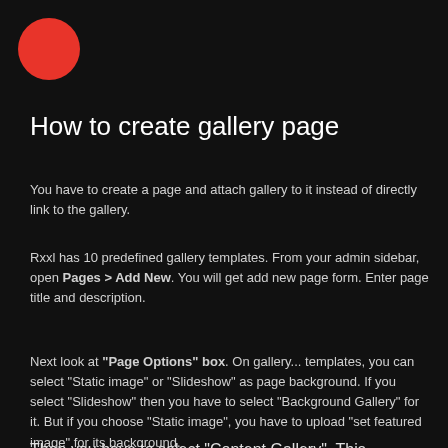[Figure (illustration): Red circle logo in top-left corner]
How to create gallery page
You have to create a page and attach gallery to it instead of directly link to the gallery.
Rxxl has 10 predefined gallery templates. From your admin sidebar, open Pages > Add New. You will get add new page form. Enter page title and description.
Next look at "Page Options" box. On gallery... templates, you can select "Static image" or "Slideshow" as page background. If you select "Slideshow" then you have to select "Background Gallery" for it. But if you choose "Static image", you have to upload "set featured image" for its background.
Then you have to select "Content Gallery". This